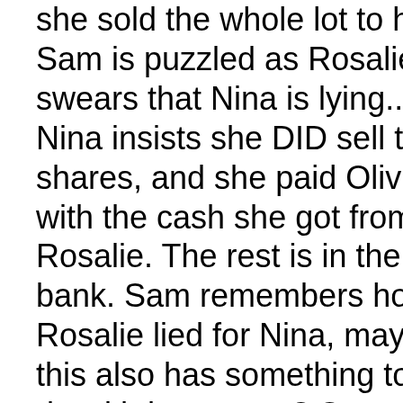she sold the whole lot to her! Sam is puzzled as Rosalie swears that Nina is lying.. Nina insists she DID sell the shares, and she paid Olivia with the cash she got from Rosalie. The rest is in the bank. Sam remembers how Rosalie lied for Nina, maybe this also has something to do with her secret? Sam thinks it could be relevant here.. Rosalie is calling her a liar and crazy bitch, is she really going to let her get away with that? Sam offers to do her dirty work if Nina tells